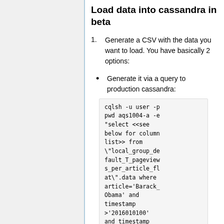Load data into cassandra in beta
Generate a CSV with the data you want to load. You have basically 2 options:
Generate it via a query to production cassandra:
cqlsh -u user -p pwd aqs1004-a -e "select <<see below for column list>> from \"local_group_default_T_pageviews_per_article_flat\".data where article='Barack_Obama' and timestamp >'2016010100' and timestamp